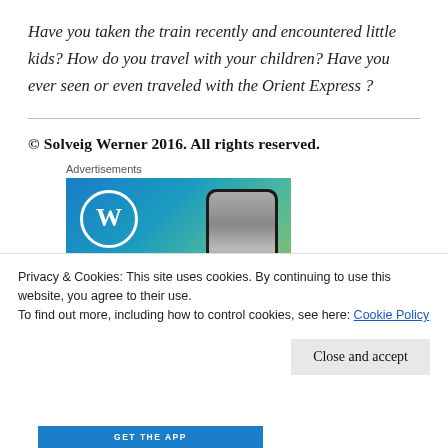Have you taken the train recently and encountered little kids? How do you travel with your children? Have you ever seen or even traveled with the Orient Express ?
© Solveig Werner 2016. All rights reserved.
[Figure (screenshot): WordPress advertisement banner with WordPress logo (W in circle) on blue-green gradient background and a phone showing a waterfall image]
Privacy & Cookies: This site uses cookies. By continuing to use this website, you agree to their use.
To find out more, including how to control cookies, see here: Cookie Policy